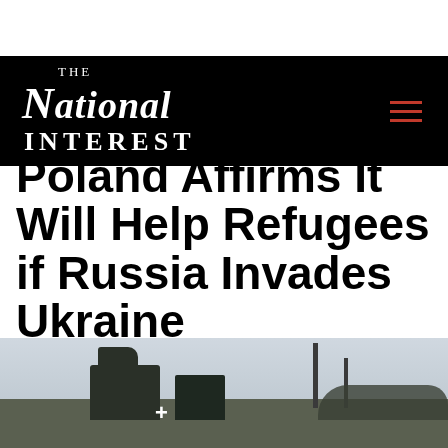THE NATIONAL INTEREST
Poland Affirms It Will Help Refugees if Russia Invades Ukraine
[Figure (photo): Military vehicles and equipment silhouetted against a grey winter sky, with communication towers and trees visible in the background.]